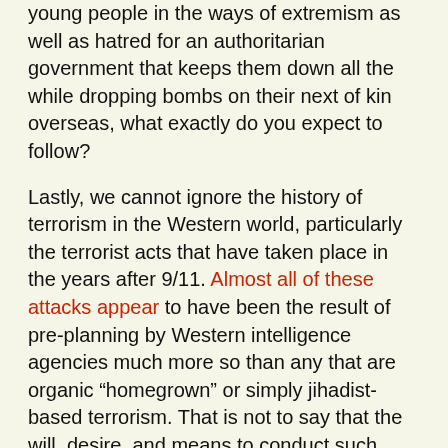young people in the ways of extremism as well as hatred for an authoritarian government that keeps them down all the while dropping bombs on their next of kin overseas, what exactly do you expect to follow?
Lastly, we cannot ignore the history of terrorism in the Western world, particularly the terrorist acts that have taken place in the years after 9/11. Almost all of these attacks appear to have been the result of pre-planning by Western intelligence agencies much more so than any that are organic “homegrown” or simply jihadist-based terrorism. That is not to say that the will, desire, and means to conduct such attacks against British society do not exist. Quite the contrary. However, in the vast majority of the attacks in Britain, the assailants were well-known to authorities, many having even been arrested, released (from rather serious crimes), and monitored before, during, and up until the very moment the attacks took place. Such is a hallmark of false flag government-sponsored terror.
These attacks are much more often than not, completely engineered by Western intelligence agencies or, at the very least, have at least a foothold with at the very of...